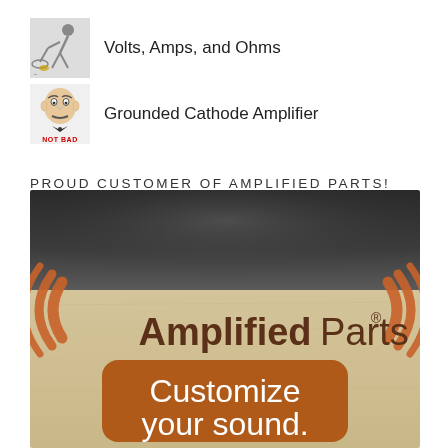Volts, Amps, and Ohms
Grounded Cathode Amplifier
PROUD CUSTOMER OF AMPLIFIED PARTS!
[Figure (illustration): AmplifiedParts advertisement banner with logo and 'Customize your sound.' text on brown/tan background with dark header]